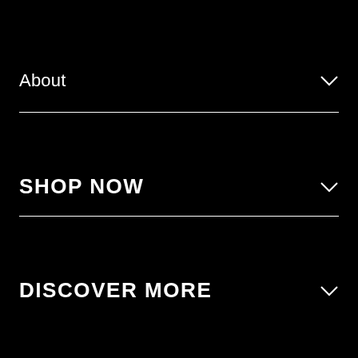About
SHOP NOW
DISCOVER MORE
CONNECT WITH US
Contact Us